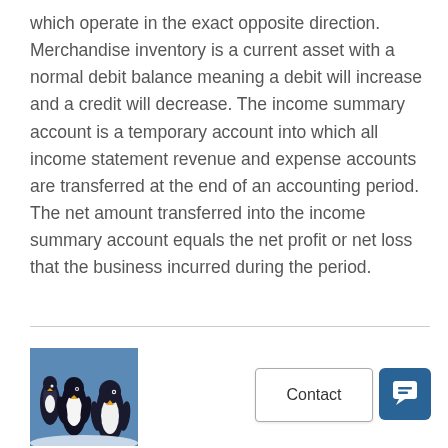which operate in the exact opposite direction. Merchandise inventory is a current asset with a normal debit balance meaning a debit will increase and a credit will decrease. The income summary account is a temporary account into which all income statement revenue and expense accounts are transferred at the end of an accounting period. The net amount transferred into the income summary account equals the net profit or net loss that the business incurred during the period.
[Figure (photo): Photo of penguins standing together outdoors]
[Figure (screenshot): Contact button and chat icon button in bottom right corner]